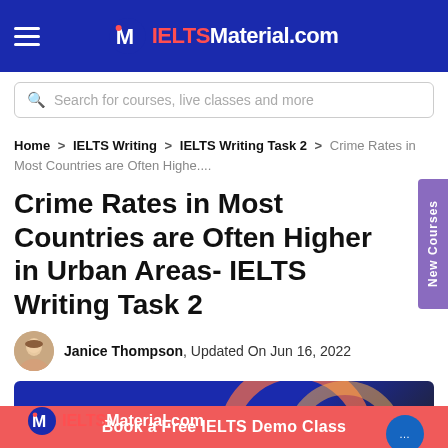IELTSMaterial.com
Search for courses, live classes and more
Home > IELTS Writing > IELTS Writing Task 2 > Crime Rates in Most Countries are Often Highe....
Crime Rates in Most Countries are Often Higher in Urban Areas- IELTS Writing Task 2
Janice Thompson, Updated On Jun 16, 2022
[Figure (logo): IELTSMaterial.com banner with logo and decorative arcs]
Book a Free IELTS Demo Class